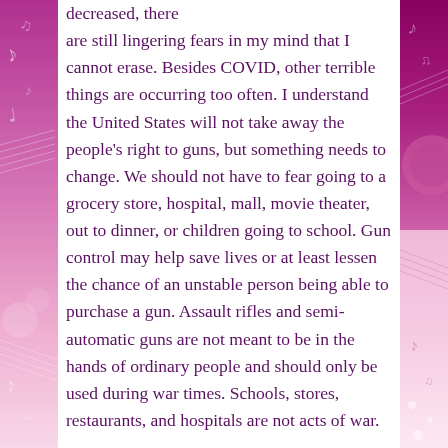decreased, there are still lingering fears in my mind that I cannot erase. Besides COVID, other terrible things are occurring too often. I understand the United States will not take away the people's right to guns, but something needs to change. We should not have to fear going to a grocery store, hospital, mall, movie theater, out to dinner, or children going to school. Gun control may help save lives or at least lessen the chance of an unstable person being able to purchase a gun. Assault rifles and semi-automatic guns are not meant to be in the hands of ordinary people and should only be used during war times. Schools, stores, restaurants, and hospitals are not acts of war.